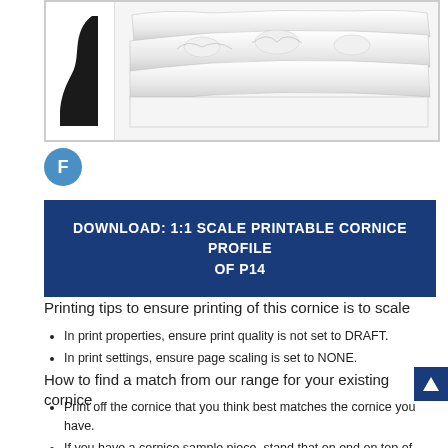[Figure (photo): Product image box showing cornice profile silhouette on the left side and a decorative ornate cornice piece (white plaster with floral/leaf relief) on the right side.]
F
Download: 1:1 SCALE PRINTABLE CORNICE PROFILE OF P14
Printing tips to ensure printing of this cornice is to scale
In print properties, ensure print quality is not set to DRAFT.
In print settings, ensure page scaling is set to NONE.
How to find a match from our range for your existing cornice
Print off the cornice that you think best matches the cornice you have.
If you have a cornice sample piece, stand that on end on top of the printed profile to see if they match.
if the cornice is still in place on the ceiling, put a small saw-cut from ceiling to wall, then slot a piece of cardboard into the saw-cut and trace the shape with a pen. Cut out and compare the traced shape with the printout from the